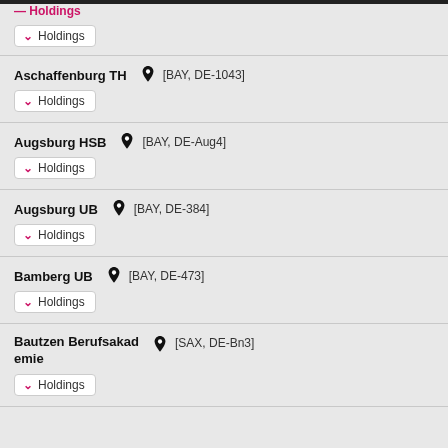Holdings (partial top entry)
Aschaffenburg TH [BAY, DE-1043] Holdings
Augsburg HSB [BAY, DE-Aug4] Holdings
Augsburg UB [BAY, DE-384] Holdings
Bamberg UB [BAY, DE-473] Holdings
Bautzen Berufsakademie [SAX, DE-Bn3] Holdings